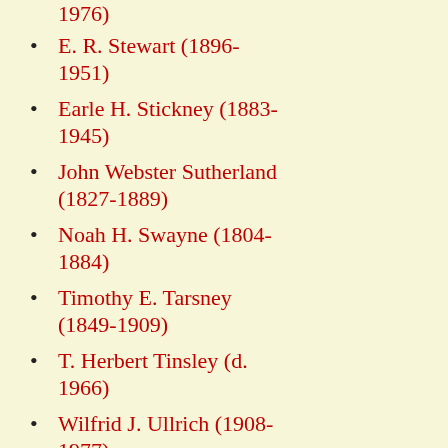1976)
E. R. Stewart (1896-1951)
Earle H. Stickney (1883-1945)
John Webster Sutherland (1827-1889)
Noah H. Swayne (1804-1884)
Timothy E. Tarsney (1849-1909)
T. Herbert Tinsley (d. 1966)
Wilfrid J. Ullrich (1908-1977)
Richard C. Van Dusen (1925-1991)
Augustus Van Wyck (1850-1922)
Bertram S. Varian (1872-1963)
Fred Wampler (1909-1999)
David Lewis Wardlaw (1799-1873)
... Watbe (1730...